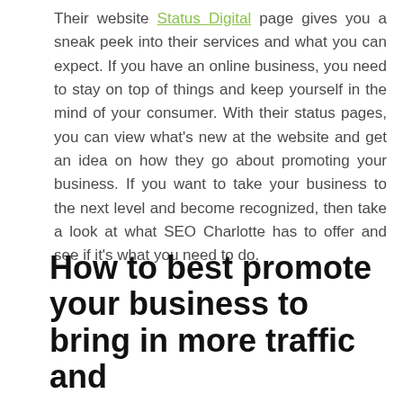Their website Status Digital page gives you a sneak peek into their services and what you can expect. If you have an online business, you need to stay on top of things and keep yourself in the mind of your consumer. With their status pages, you can view what's new at the website and get an idea on how they go about promoting your business. If you want to take your business to the next level and become recognized, then take a look at what SEO Charlotte has to offer and see if it's what you need to do.
How to best promote your business to bring in more traffic and